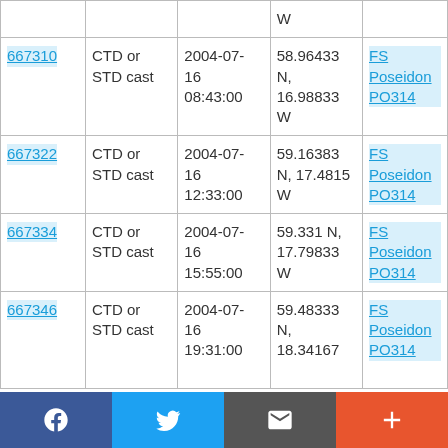| ID | Type | Date/Time | Location | Cruise |
| --- | --- | --- | --- | --- |
| (partial top row) |  |  | W |  |
| 667310 | CTD or STD cast | 2004-07-16 08:43:00 | 58.96433 N, 16.98833 W | FS Poseidon PO314 |
| 667322 | CTD or STD cast | 2004-07-16 12:33:00 | 59.16383 N, 17.4815 W | FS Poseidon PO314 |
| 667334 | CTD or STD cast | 2004-07-16 15:55:00 | 59.331 N, 17.79833 W | FS Poseidon PO314 |
| 667346 | CTD or STD cast | 2004-07-16 19:31:00 | 59.48333 N, 18.34167 W (partial) | FS Poseidon PO314 |
Social share bar: Facebook, Twitter, Email, Plus